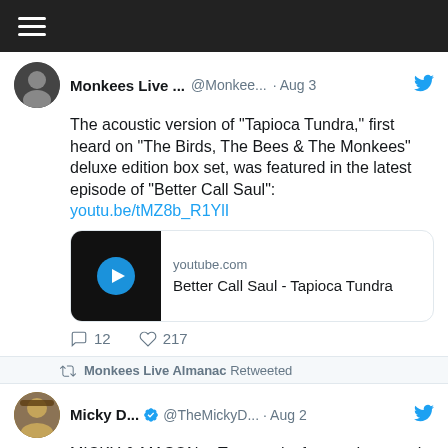[Figure (screenshot): Twitter/social media app top navigation bar with hamburger menu icon on dark background]
Monkees Live ... @Monkee... · Aug 3
The acoustic version of "Tapioca Tundra," first heard on "The Birds, The Bees & The Monkees" deluxe edition box set, was featured in the latest episode of "Better Call Saul": youtu.be/tMZ8b_R1YlI
[Figure (screenshot): YouTube preview card showing Better Call Saul - Tapioca Tundra video thumbnail with play button]
12 replies · 217 likes
Monkees Live Almanac Retweeted
Micky D... @TheMickyD... · Aug 2
MICKY & MASON -- Two weeks from today, watch Anthony Mason profile Micky Dolenz on CBS Mornings, on the anniversary of the release of "Last Train To Clarksville." #mickysdolenz #CBSMornings